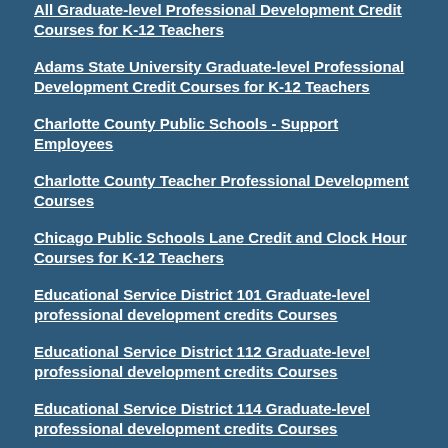All Graduate-level Professional Development Credit Courses for K-12 Teachers
Adams State University Graduate-level Professional Development Credit Courses for K-12 Teachers
Charlotte County Public Schools - Support Employees
Charlotte County Teacher Professional Development Courses
Chicago Public Schools Lane Credit and Clock Hour Courses for K-12 Teachers
Educational Service District 101 Graduate-level professional development credits Courses
Educational Service District 112 Graduate-level professional development credits Courses
Educational Service District 114 Graduate-level professional development credits Courses